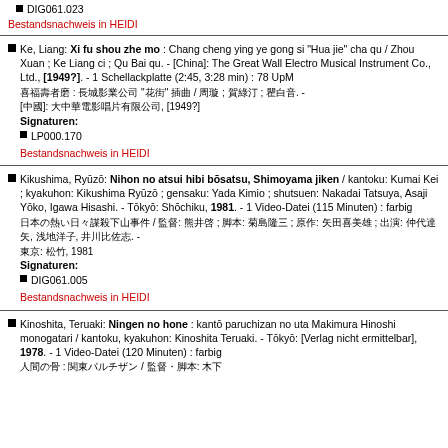DIG061.023
Bestandsnachweis in HEIDI
Ke, Liang: Xi fu shou zhe mo : Chang cheng ying ye gong si "Hua jie" cha qu / Zhou Xuan ; Ke Liang ci ; Qu Bai qu. - [China]: The Great Wall Electro Musical Instrument Co., Ltd., [1949?]. - 1 Schellackplatte (2:45, 3:28 min) : 78 UpM
Signaturen: LP000.170
Bestandsnachweis in HEIDI
Kikushima, Ryūzō: Nihon no atsui hibi bōsatsu, Shimoyama jiken / kantoku: Kumai Kei ; kyakuhon: Kikushima Ryūzō ; gensaku: Yada Kimio ; shutsuen: Nakadai Tatsuya, Asaji Yōko, Igawa Hisashi. - Tōkyō: Shōchiku, 1981. - 1 Video-Datei (115 Minuten) : farbig
Signaturen: DIG061.005
Bestandsnachweis in HEIDI
Kinoshita, Teruaki: Ningen no hone : kantō paruchizan no uta Makimura Hinoshi monogatari / kantoku, kyakuhon: Kinoshita Teruaki. - Tōkyō: [Verlag nicht ermittelbar], 1978. - 1 Video-Datei (120 Minuten) : farbig